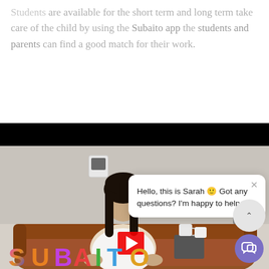Students are available for the short term and long term take care of the child by using the Subaito app the students and parents can find a good match for their work.
[Figure (screenshot): Screenshot of a video player showing a woman sitting on a brown leather couch with colorful 'SUBAITO' text in the background. A chat popup overlay reads 'Hello, this is Sarah 🙂 Got any questions? I'm happy to help.' with a close button. Bottom right shows a chat button with a purple circle icon.]